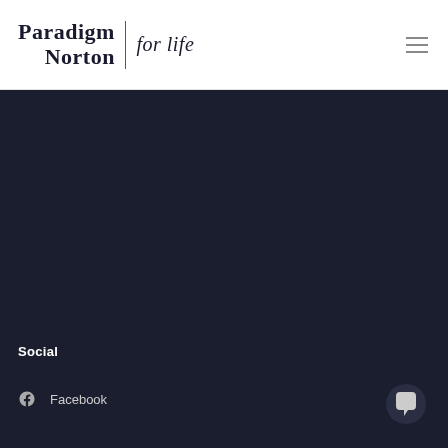[Figure (logo): Paradigm Norton 'for life' logo with vertical divider bar]
[Figure (other): Hamburger menu icon (three horizontal lines)]
[Figure (other): Dark navy background section covering lower three-quarters of page]
Social
Facebook
[Figure (other): Chat bubble icon in bottom right corner]